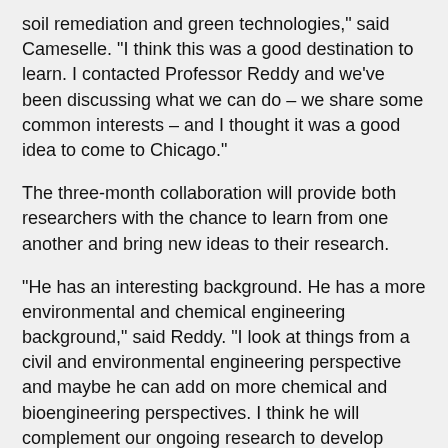soil remediation and green technologies," said Cameselle. "I think this was a good destination to learn. I contacted Professor Reddy and we've been discussing what we can do – we share some common interests – and I thought it was a good idea to come to Chicago."
The three-month collaboration will provide both researchers with the chance to learn from one another and bring new ideas to their research.
“He has an interesting background. He has a more environmental and chemical engineering background," said Reddy. "I look at things from a civil and environmental engineering perspective and maybe he can add on more chemical and bioengineering perspectives. I think he will complement our ongoing research to develop green and sustainable environmental remediation technologies."
Cameselle is also excited about the joint effort and looks forward to learning from Reddy.
“The group here is very active and Professor Reddy has very clever ideas," said Cameselle. "I think I’m going to learn more [from him], but we can learn from each other."